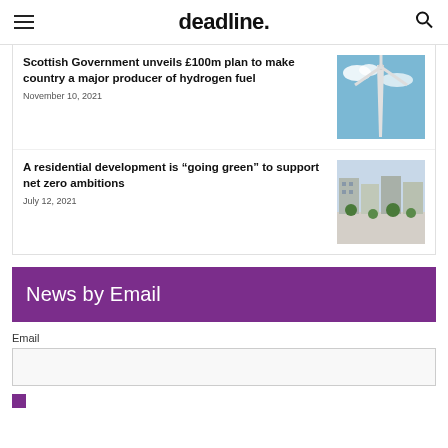deadline.
Scottish Government unveils £100m plan to make country a major producer of hydrogen fuel
November 10, 2021
[Figure (photo): Wind turbine against blue sky with clouds]
A residential development is “going green” to support net zero ambitions
July 12, 2021
[Figure (photo): Aerial view of a green residential development with trees]
News by Email
Email